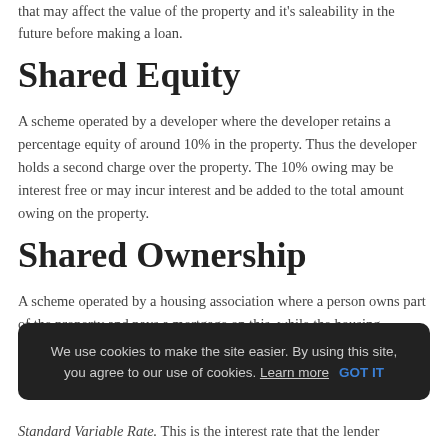that may affect the value of the property and it's saleability in the future before making a loan.
Shared Equity
A scheme operated by a developer where the developer retains a percentage equity of around 10% in the property. Thus the developer holds a second charge over the property. The 10% owing may be interest free or may incur interest and be added to the total amount owing on the property.
Shared Ownership
A scheme operated by a housing association where a person owns part of the property and pays a mortgage on this, while the housing association owns the rest of the property and the p...
We use cookies to make the site easier. By using this site, you agree to our use of cookies. Learn more   GOT IT
Standard Variable Rate. This is the interest rate that the lender...